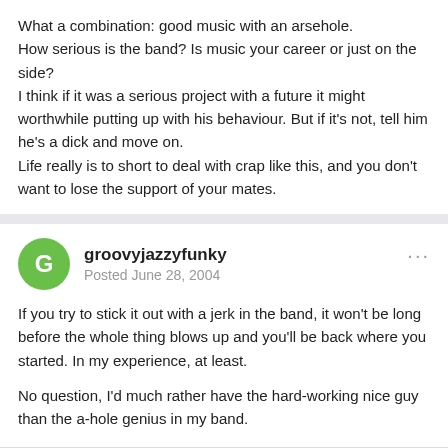What a combination: good music with an arsehole.
How serious is the band? Is music your career or just on the side?
I think if it was a serious project with a future it might worthwhile putting up with his behaviour. But if it's not, tell him he's a dick and move on.
Life really is to short to deal with crap like this, and you don't want to lose the support of your mates.
groovyjazzyfunky
Posted June 28, 2004
If you try to stick it out with a jerk in the band, it won't be long before the whole thing blows up and you'll be back where you started. In my experience, at least.

No question, I'd much rather have the hard-working nice guy than the a-hole genius in my band.